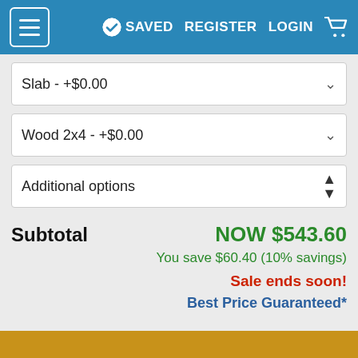≡  SAVED  REGISTER  LOGIN  🛒
Slab - +$0.00
Wood 2x4 - +$0.00
Additional options
Subtotal  NOW $543.60
You save $60.40 (10% savings)
Sale ends soon!
Best Price Guaranteed*
Also order by phone: 1-888-447-1946